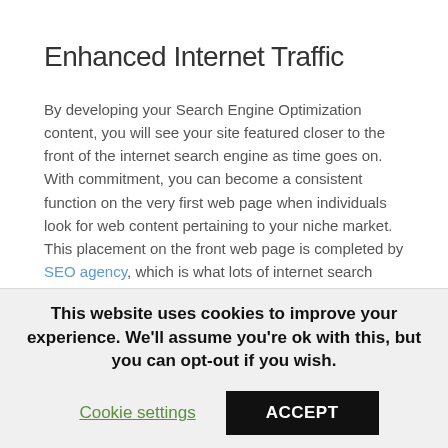Enhanced Internet Traffic
By developing your Search Engine Optimization content, you will see your site featured closer to the front of the internet search engine as time goes on. With commitment, you can become a consistent function on the very first web page when individuals look for web content pertaining to your niche market. This placement on the front web page is completed by SEO agency, which is what lots of internet search engine use to establish the visibility of your content.
Utilizing the best key phrases is additionally extremely essential, as this can make or damage your presence and outreach. SEO specialists can take stock of your brand name as well as make use of key words that promote users while enhancing your ranking. They can
This website uses cookies to improve your experience. We'll assume you're ok with this, but you can opt-out if you wish.
Cookie settings   ACCEPT